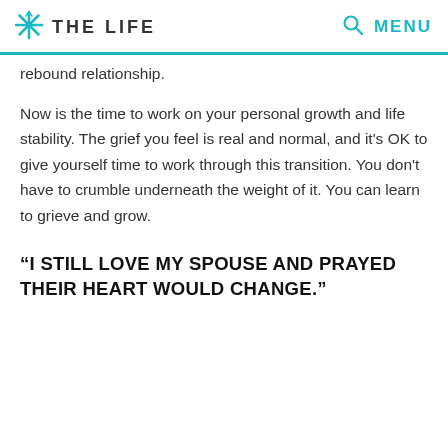THE LIFE  MENU
rebound relationship.
Now is the time to work on your personal growth and life stability. The grief you feel is real and normal, and it's OK to give yourself time to work through this transition. You don't have to crumble underneath the weight of it. You can learn to grieve and grow.
“I STILL LOVE MY SPOUSE AND PRAYED THEIR HEART WOULD CHANGE.”